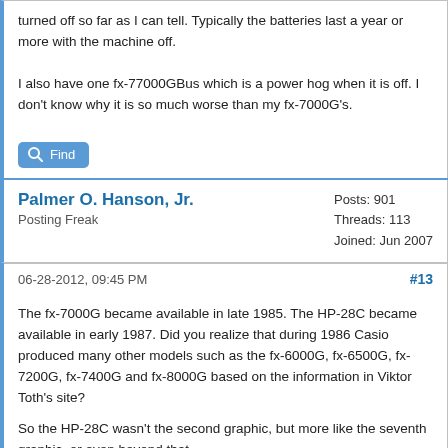turned off so far as I can tell. Typically the batteries last a year or more with the machine off.

I also have one fx-77000GBus which is a power hog when it is off. I don't know why it is so much worse than my fx-7000G's.
Find
Palmer O. Hanson, Jr.
Posting Freak
Posts: 901
Threads: 113
Joined: Jun 2007
06-28-2012, 09:45 PM
#13
The fx-7000G became available in late 1985. The HP-28C became available in early 1987. Did you realize that during 1986 Casio produced many other models such as the fx-6000G, fx-6500G, fx-7200G, fx-7400G and fx-8000G based on the information in Viktor Toth's site?

So the HP-28C wasn't the second graphic, but more like the seventh graphic, or even beyond that.

A more recent release was the Durabrand 828. Do you have one